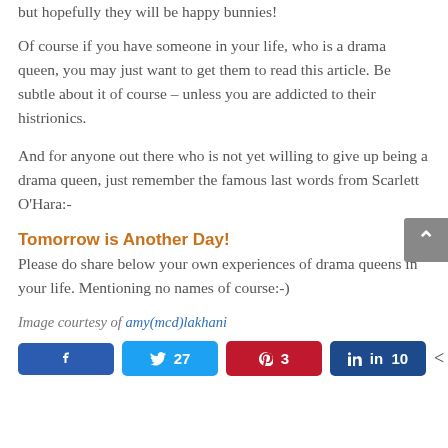in danger of becoming really boring from here on, but hopefully they will be happy bunnies!
Of course if you have someone in your life, who is a drama queen, you may just want to get them to read this article. Be subtle about it of course – unless you are addicted to their histrionics.
And for anyone out there who is not yet willing to give up being a drama queen, just remember the famous last words from Scarlett O'Hara:-
Tomorrow is Another Day!
Please do share below your own experiences of drama queens in your life. Mentioning no names of course:-)
Image courtesy of amy(mcd)lakhani
Social share buttons: Facebook, Twitter 27, Pinterest 3, LinkedIn 10, 356 SHARES